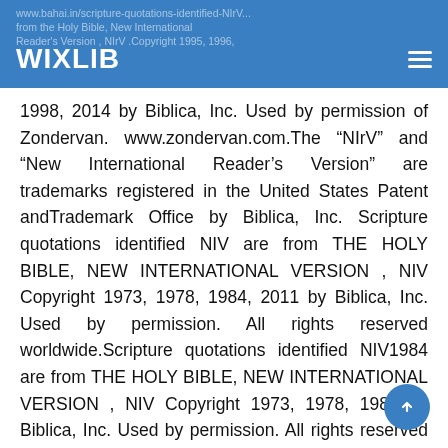WIXLIB | www.bahai.in/scripture-quotations-identified-NIrV...from the Holy Bible, New International Reader's Version , NIrV .Copyright 1995, 1996,
1998, 2014 by Biblica, Inc. Used by permission of Zondervan. www.zondervan.com.The “NIrV” and “New International Reader’s Version” are trademarks registered in the United States Patent andTrademark Office by Biblica, Inc. Scripture quotations identified NIV are from THE HOLY BIBLE, NEW INTERNATIONAL VERSION , NIV Copyright 1973, 1978, 1984, 2011 by Biblica, Inc. Used by permission. All rights reserved worldwide.Scripture quotations identified NIV1984 are from THE HOLY BIBLE, NEW INTERNATIONAL VERSION , NIV Copyright 1973, 1978, 1984 by Biblica, Inc. Used by permission. All rights reserved worldwide.Scripture quotations identified NKJV are from the New King James Version . Copyright 1982 by Thomas Nelson.Used by permission. All rights reserved.Scrip